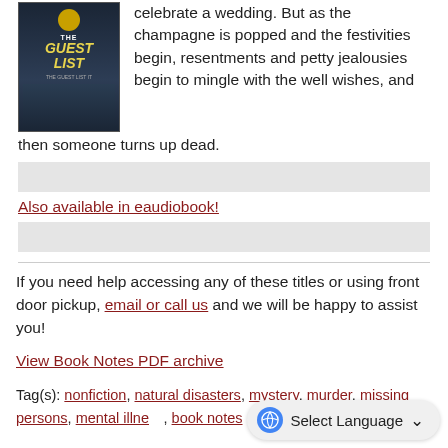[Figure (photo): Book cover of 'The Guest List' - dark atmospheric cover with yellow title text on dark blue/navy background]
celebrate a wedding. But as the champagne is popped and the festivities begin, resentments and petty jealousies begin to mingle with the well wishes, and then someone turns up dead.
Also available in eaudiobook!
If you need help accessing any of these titles or using front door pickup, email or call us and we will be happy to assist you!
View Book Notes PDF archive
Tag(s): nonfiction, natural disasters, mystery, murder, missing persons, mental illness, book notes